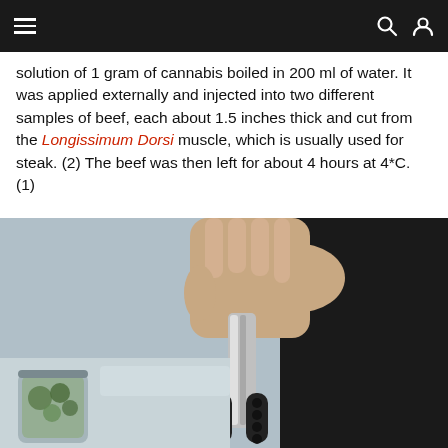Navigation bar with hamburger menu, search icon, and user icon
solution of 1 gram of cannabis boiled in 200 ml of water. It was applied externally and injected into two different samples of beef, each about 1.5 inches thick and cut from the Longissimum Dorsi muscle, which is usually used for steak. (2) The beef was then left for about 4 hours at 4*C. (1)
[Figure (photo): A person holding metal kitchen tongs with black silicone grips, with cannabis/herb material visible in a jar in the lower left corner. The person is wearing a dark jacket.]